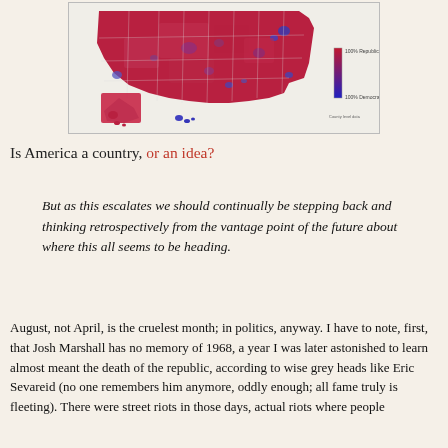[Figure (map): US county-level election results map showing Republican (red) vs Democrat (blue) voting patterns. Most of the country is red with blue clusters in urban areas and along coasts. Includes a color legend on the right side and small insets for Alaska and Hawaii.]
Is America a country, or an idea?
But as this escalates we should continually be stepping back and thinking retrospectively from the vantage point of the future about where this all seems to be heading.
August, not April, is the cruelest month; in politics, anyway. I have to note, first, that Josh Marshall has no memory of 1968, a year I was later astonished to learn almost meant the death of the republic, according to wise grey heads like Eric Sevareid (no one remembers him anymore, oddly enough; all fame truly is fleeting). There were street riots in those days, actual riots where people